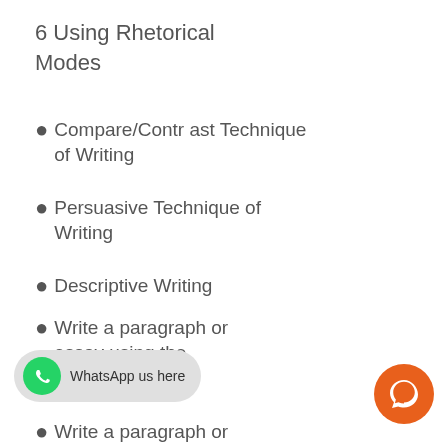6 Using Rhetorical Modes
Compare/Contrast Technique of Writing
Persuasive Technique of Writing
Descriptive Writing
Write a paragraph or essay using the comparison/con
Write a paragraph or